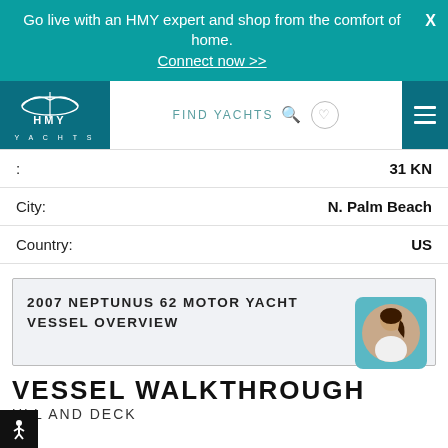Go live with an HMY expert and shop from the comfort of home.
Connect now >>
[Figure (logo): HMY Yachts logo — white yacht icon above text HMY YACHTS on teal background]
FIND YACHTS
31 KN
City: N. Palm Beach
Country: US
2007 NEPTUNUS 62 MOTOR YACHT VESSEL OVERVIEW
VESSEL WALKTHROUGH
ULL AND DECK